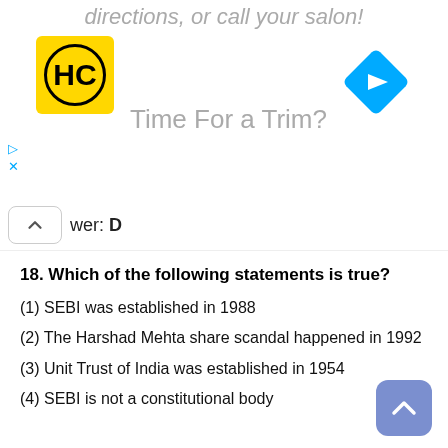[Figure (screenshot): Advertisement banner for a hair salon app/service with HC logo, navigation arrow, and text 'Time For a Trim?']
Answer: D
18. Which of the following statements is true?
(1) SEBI was established in 1988
(2) The Harshad Mehta share scandal happened in 1992
(3) Unit Trust of India was established in 1954
(4) SEBI is not a constitutional body